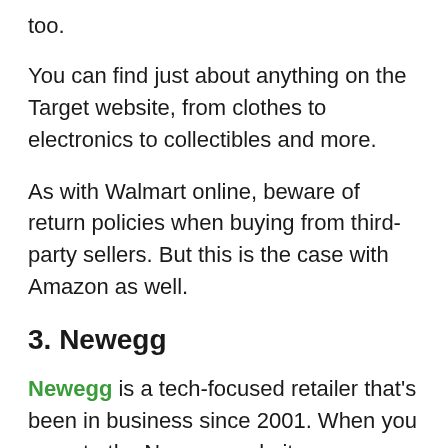too.
You can find just about anything on the Target website, from clothes to electronics to collectibles and more.
As with Walmart online, beware of return policies when buying from third-party sellers. But this is the case with Amazon as well.
3. Newegg
Newegg is a tech-focused retailer that's been in business since 2001. When you go onto the Newegg website